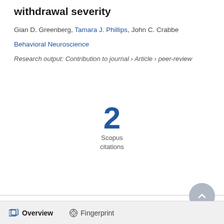withdrawal severity
Gian D. Greenberg, Tamara J. Phillips, John C. Crabbe
Behavioral Neuroscience
Research output: Contribution to journal › Article › peer-review
[Figure (infographic): Scopus citations count: 2, showing large numeral '2' in blue above the text 'Scopus citations']
Overview   Fingerprint